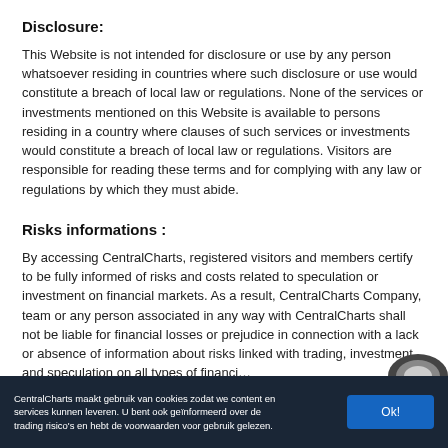Disclosure:
This Website is not intended for disclosure or use by any person whatsoever residing in countries where such disclosure or use would constitute a breach of local law or regulations. None of the services or investments mentioned on this Website is available to persons residing in a country where clauses of such services or investments would constitute a breach of local law or regulations. Visitors are responsible for reading these terms and for complying with any law or regulations by which they must abide.
Risks informations :
By accessing CentralCharts, registered visitors and members certify to be fully informed of risks and costs related to speculation or investment on financial markets. As a result, CentralCharts Company, team or any person associated in any way with CentralCharts shall not be liable for financial losses or prejudice in connection with a lack or absence of information about risks linked with trading, investment and speculation on all types of financial
CentralCharts maakt gebruik van cookies zodat we content en services kunnen leveren. U bent ook geïnformeerd over de trading risico's en hebt de voorwaarden voor gebruik gelezen.